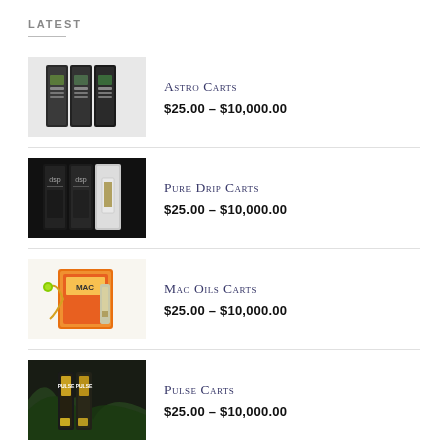LATEST
[Figure (photo): Three Astro Carts vape cartridge packages, dark packaging standing upright]
Astro Carts
$25.00 – $10,000.00
[Figure (photo): Pure Drip Carts product packaging, dark boxes with vape cartridges]
Pure Drip Carts
$25.00 – $10,000.00
[Figure (photo): Mac Oils Carts product with colorful packaging and yellow/green decoration]
Mac Oils Carts
$25.00 – $10,000.00
[Figure (photo): Pulse Carts product with green plant in dark background]
Pulse Carts
$25.00 – $10,000.00
BEST SELLING